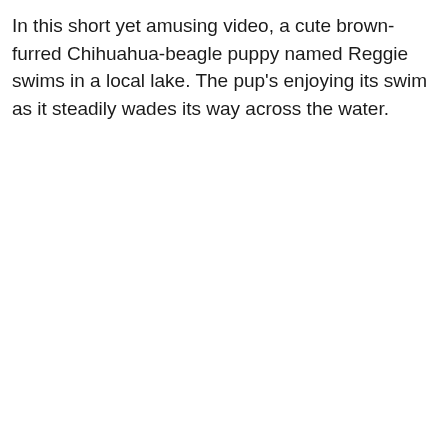In this short yet amusing video, a cute brown-furred Chihuahua-beagle puppy named Reggie swims in a local lake. The pup's enjoying its swim as it steadily wades its way across the water.